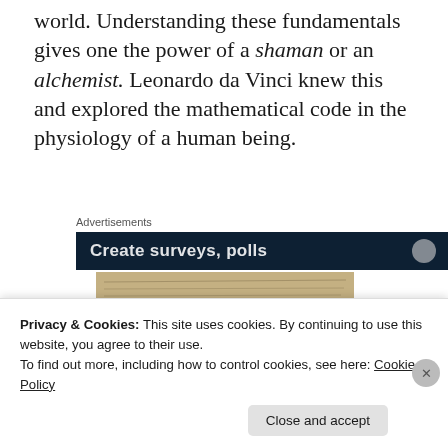world. Understanding these fundamentals gives one the power of a shaman or an alchemist. Leonardo da Vinci knew this and explored the mathematical code in the physiology of a human being.
Advertisements
[Figure (screenshot): Advertisement banner with dark background and text 'Create surveys, polls']
[Figure (illustration): Leonardo da Vinci manuscript page showing geometric diagrams with a triangle and circular arc drawn over a human torso sketch, with handwritten notes]
Privacy & Cookies: This site uses cookies. By continuing to use this website, you agree to their use.
To find out more, including how to control cookies, see here: Cookie Policy
Close and accept